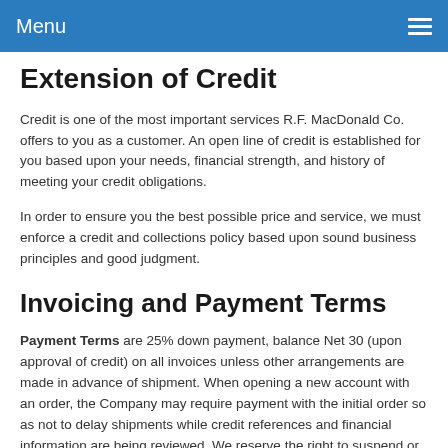Menu
Extension of Credit
Credit is one of the most important services R.F. MacDonald Co. offers to you as a customer. An open line of credit is established for you based upon your needs, financial strength, and history of meeting your credit obligations.
In order to ensure you the best possible price and service, we must enforce a credit and collections policy based upon sound business principles and good judgment.
Invoicing and Payment Terms
Payment Terms are 25% down payment, balance Net 30 (upon approval of credit) on all invoices unless other arrangements are made in advance of shipment. When opening a new account with an order, the Company may require payment with the initial order so as not to delay shipments while credit references and financial information are being reviewed. We reserve the right to suspend or terminate any further performance under this agreement or